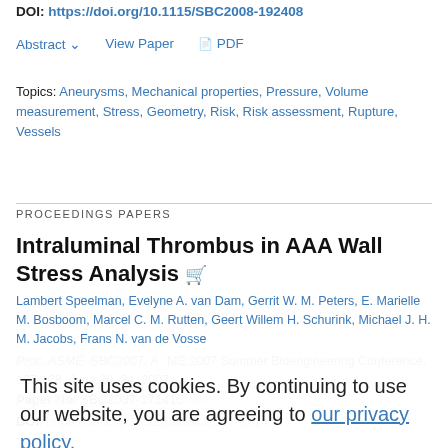DOI: https://doi.org/10.1115/SBC2008-192408
Abstract   View Paper   PDF
Topics: Aneurysms, Mechanical properties, Pressure, Volume measurement, Stress, Geometry, Risk, Risk assessment, Rupture, Vessels
PROCEEDINGS PAPERS
Intraluminal Thrombus in AAA Wall Stress Analysis
Lambert Speelman, Evelyne A. van Dam, Gerrit W. M. Peters, E. Marielle M. Bosboom, Marcel C. M. Rutten, Geert Willem H. Schurink, Michael J. H. M. Jacobs, Frans N. van de Vosse
Proc. ASME. SBC2007, ASME 2007 Summer Bioengineering Conference, 127-128, June 20–24, 2007
Paper No: SBC2007-171415
DOI: https://doi.org/10.1115/SBC2007-171415
This site uses cookies. By continuing to use our website, you are agreeing to our privacy policy. Accept